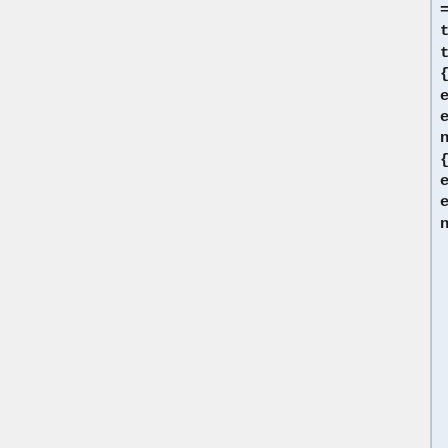=Potash Ore|image=Potash_ore.png|link=Potash Ore}} {{Inventory/Slot|index=1|title=Potash Ore|image=Potash_ore.png|link=Potash Ore}} {{Inventory/Slot|index=5|title=Potash Ore|image=Potash_ore.png|link=